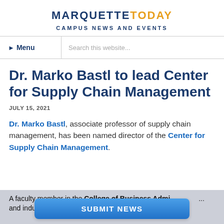MARQUETTE TODAY — CAMPUS NEWS AND EVENTS
Dr. Marko Bastl to lead Center for Supply Chain Management
JULY 15, 2021
Dr. Marko Bastl, associate professor of supply chain management, has been named director of the Center for Supply Chain Management.
A faculty member in the College of Business Administration ... and industry experience to the role, which he began July 1
SUBMIT NEWS